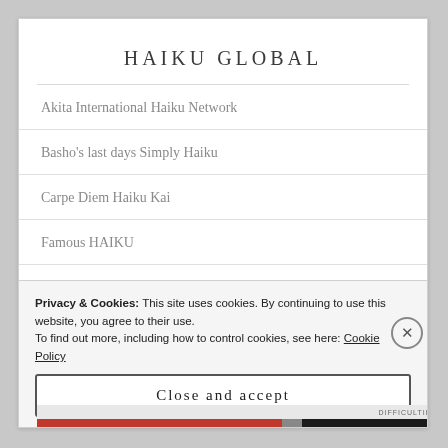HAIKU GLOBAL
Akita International Haiku Network
Basho's last days Simply Haiku
Carpe Diem Haiku Kai
Famous HAIKU
Haiku out of Africa
Privacy & Cookies: This site uses cookies. By continuing to use this website, you agree to their use.
To find out more, including how to control cookies, see here: Cookie Policy
Close and accept